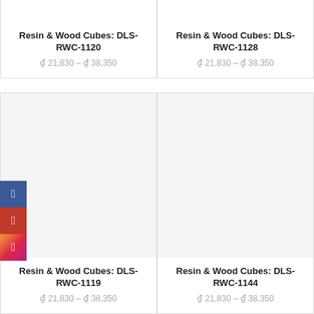Resin & Wood Cubes: DLS-RWC-1120
₫ 21,830 – ₫ 38,350
Resin & Wood Cubes: DLS-RWC-1128
₫ 21,830 – ₫ 38,350
[Figure (other): Product image placeholder for DLS-RWC-1119]
[Figure (other): Product image placeholder for DLS-RWC-1144]
Resin & Wood Cubes: DLS-RWC-1119
₫ 21,830 – ₫ 38,350
Resin & Wood Cubes: DLS-RWC-1144
₫ 21,830 – ₫ 38,350